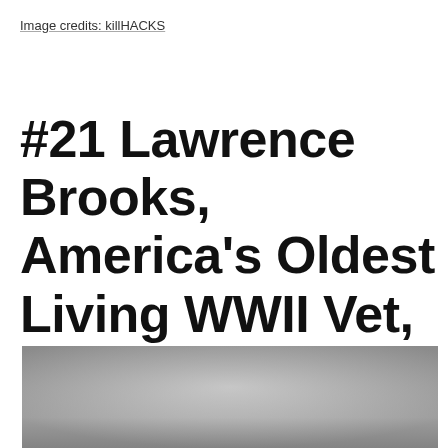Image credits: killHACKS
#21 Lawrence Brooks, America's Oldest Living WWII Vet, 110yo
[Figure (photo): Partial view of a photograph with grey/dark tones, cropped at the bottom of the page]